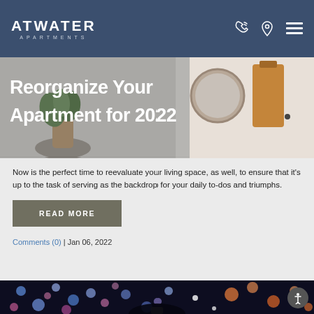ATWATER APARTMENTS
Reorganize Your Apartment for 2022
Now is the perfect time to reevaluate your living space, as well, to ensure that it’s up to the task of serving as the backdrop for your daily to-dos and triumphs.
READ MORE
Comments (0) | Jan 06, 2022
[Figure (photo): Bokeh lights display with colorful blue, pink, and orange illuminated spheres against a dark background, with a silhouette of a person visible]